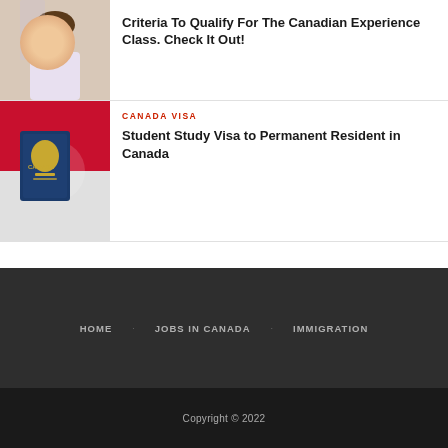[Figure (photo): Smiling woman at desk (top thumbnail)]
Criteria To Qualify For The Canadian Experience Class. Check It Out!
[Figure (photo): Canadian passport with red maple leaf flag background]
CANADA VISA
Student Study Visa to Permanent Resident in Canada
HOME   JOBS IN CANADA   IMMIGRATION
Copyright © 2022